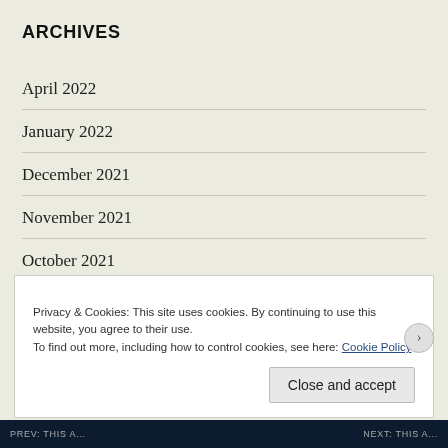ARCHIVES
April 2022
January 2022
December 2021
November 2021
October 2021
September 2021
August 2021
Privacy & Cookies: This site uses cookies. By continuing to use this website, you agree to their use.
To find out more, including how to control cookies, see here: Cookie Policy
Close and accept